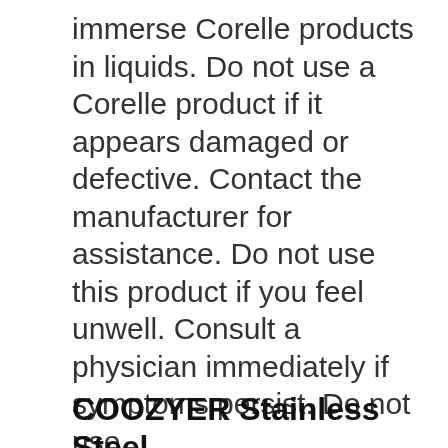immerse Corelle products in liquids. Do not use a Corelle product if it appears damaged or defective. Contact the manufacturer for assistance. Do not use this product if you feel unwell. Consult a physician immediately if symptoms persist. Do not use
COOZYER Stainless Steel